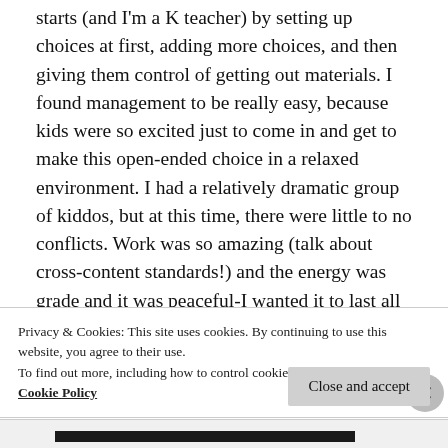starts (and I'm a K teacher) by setting up choices at first, adding more choices, and then giving them control of getting out materials. I found management to be really easy, because kids were so excited just to come in and get to make this open-ended choice in a relaxed environment. I had a relatively dramatic group of kiddos, but at this time, there were little to no conflicts. Work was so amazing (talk about cross-content standards!) and the energy was grade and it was peaceful-I wanted it to last all day (so did they). I still want to do more with this
Privacy & Cookies: This site uses cookies. By continuing to use this website, you agree to their use.
To find out more, including how to control cookies, see here:
Cookie Policy